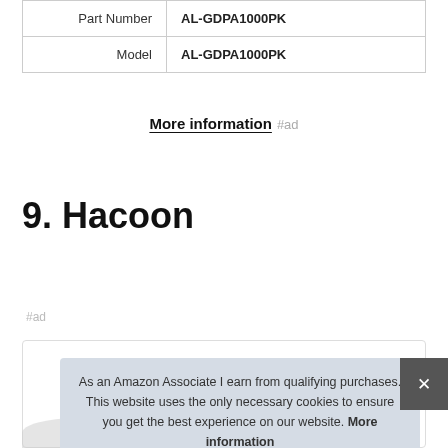| Part Number | AL-GDPA1000PK |
| Model | AL-GDPA1000PK |
More information #ad
9. Hacoon
#ad
As an Amazon Associate I earn from qualifying purchases. This website uses the only necessary cookies to ensure you get the best experience on our website. More information